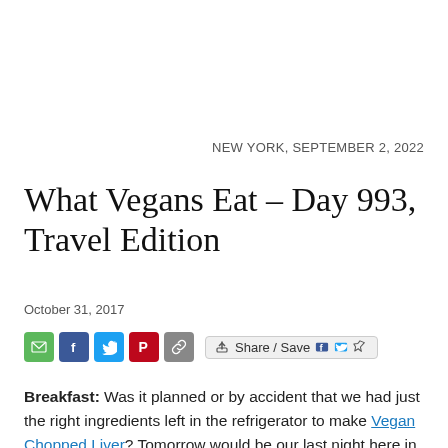NEW YORK, SEPTEMBER 2, 2022
What Vegans Eat – Day 993, Travel Edition
October 31, 2017
[Figure (infographic): Social media share buttons: email (green), Facebook (blue), Twitter (blue), Pinterest (red), copy link (gray), and a Share/Save button with Facebook, Twitter, and share icons]
Breakfast: Was it planned or by accident that we had just the right ingredients left in the refrigerator to make Vegan Chopped Liver? Tomorrow would be our last night here in Walnut Creek and we had plans for dinner in Santa Cruz with our friends John and Deo. I thought I would bring them the Vegan Chopped Liver